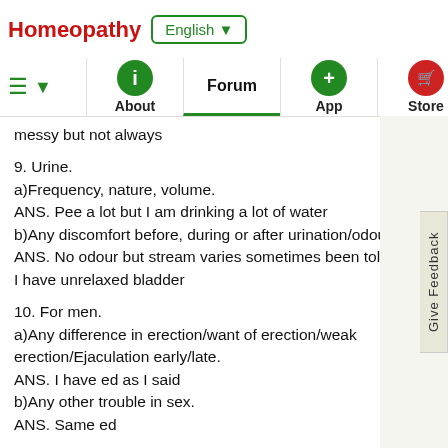Homeopathy  English ▼
About  Forum  App  Store
messy but not always
9. Urine.
a)Frequency, nature, volume.
ANS. Pee a lot but I am drinking a lot of water
b)Any discomfort before, during or after urination/odour
ANS. No odour but stream varies sometimes been told I have unrelaxed bladder
10. For men.
a)Any difference in erection/want of erection/weak erection/Ejaculation early/late.
ANS. I have ed as I said
b)Any other trouble in sex.
ANS. Same ed
11. For Females.
a)Menses, Regular, Irregular,Early, Late.
ANS.
b)Duration of menses.
ANS.
c)Nature of flow, Scanty, Blood colour, Consistency, Odour, Staining, itching/ when and what makes it